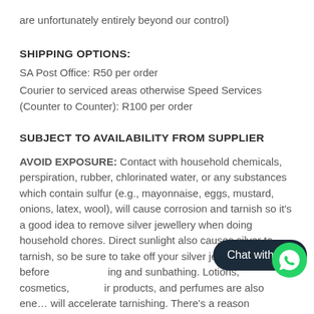are unfortunately entirely beyond our control)
SHIPPING OPTIONS:
SA Post Office: R50 per order
Courier to serviced areas otherwise Speed Services (Counter to Counter): R100 per order
SUBJECT TO AVAILABILITY FROM SUPPLIER
AVOID EXPOSURE: Contact with household chemicals, perspiration, rubber, chlorinated water, or any substances which contain sulfur (e.g., mayonnaise, eggs, mustard, onions, latex, wool), will cause corrosion and tarnish so it's a good idea to remove silver jewellery when doing household chores. Direct sunlight also causes silver to tarnish, so be sure to take off your silver jewellery before going and sunbathing. Lotions, cosmetics, hair products, and perfumes are also enemies and will accelerate tarnishing. There's a reason generations